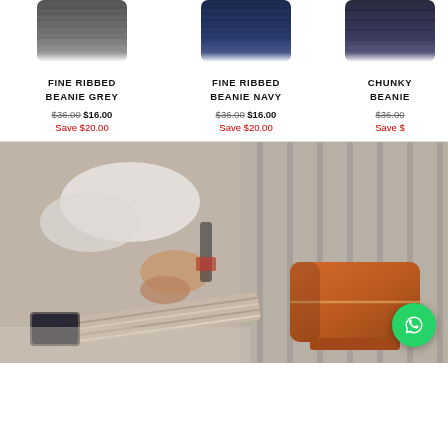[Figure (photo): Fine Ribbed Beanie Grey product image (top portion of knit beanie)]
FINE RIBBED BEANIE GREY
$36.00 $16.00 Save $20.00
[Figure (photo): Fine Ribbed Beanie Navy product image (top portion of knit beanie)]
FINE RIBBED BEANIE NAVY
$36.00 $16.00 Save $20.00
[Figure (photo): Chunky Beanie product image partially visible]
CHUNKY BEANIE
$36.00 Save $
[Figure (photo): Lifestyle photo showing a brown leather crossbody bag with a woven strap resting on a car seat, person's hand visible in background. WhatsApp chat button overlay in bottom right corner.]